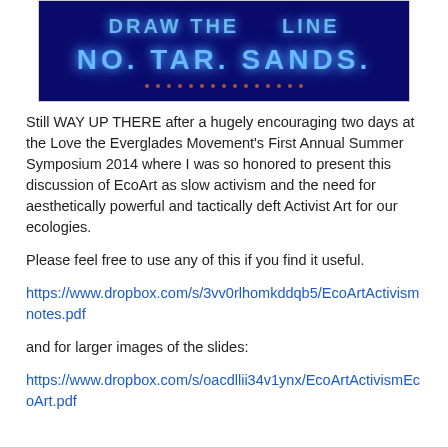[Figure (photo): Photo of a blue neon light display reading 'DRAW THE LINE / NO TAR SANDS' against a dark background with small lights along the bottom]
Still WAY UP THERE after a hugely encouraging two days at the Love the Everglades Movement's First Annual Summer Symposium 2014 where I was so honored to present this discussion of EcoArt as slow activism and the need for aesthetically powerful and tactically deft Activist Art for our ecologies.
Please feel free to use any of this if you find it useful.
https://www.dropbox.com/s/3vv0rlhomkddqb5/EcoArtActivismnotes.pdf
and for larger images of the slides:
https://www.dropbox.com/s/oacdllii34v1ynx/EcoArtActivismEcoArt.pdf